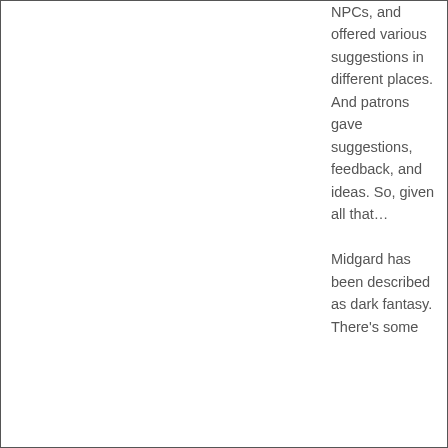NPCs, and offered various suggestions in different places. And patrons gave suggestions, feedback, and ideas. So, given all that… Midgard has been described as dark fantasy. There's some